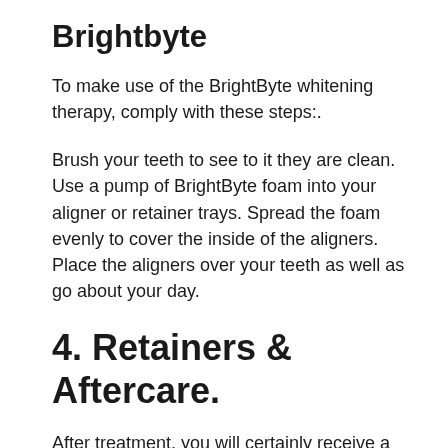Brightbyte
To make use of the BrightByte whitening therapy, comply with these steps:.
Brush your teeth to see to it they are clean. Use a pump of BrightByte foam into your aligner or retainer trays. Spread the foam evenly to cover the inside of the aligners. Place the aligners over your teeth as well as go about your day.
4. Retainers & Aftercare.
After treatment, you will certainly receive a personalized retainer that guarantees your